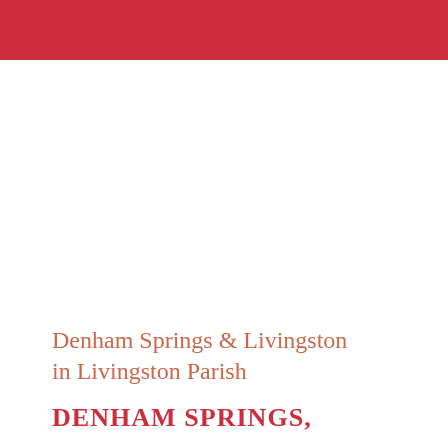Denham Springs & Livingston in Livingston Parish
DENHAM SPRINGS,